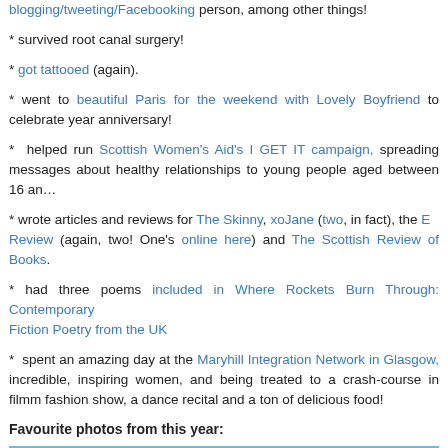blogging/tweeting/Facebooking person, among other things!
* survived root canal surgery!
* got tattooed (again).
* went to beautiful Paris for the weekend with Lovely Boyfriend to celebrate year anniversary!
* helped run Scottish Women's Aid's I GET IT campaign, spreading messages about healthy relationships to young people aged between 16 and
* wrote articles and reviews for The Skinny, xoJane (two, in fact), the E Review (again, two! One's online here) and The Scottish Review of Books.
* had three poems included in Where Rockets Burn Through: Contemporary Fiction Poetry from the UK
* spent an amazing day at the Maryhill Integration Network in Glasgow, incredible, inspiring women, and being treated to a crash-course in filmm fashion show, a dance recital and a ton of delicious food!
Favourite photos from this year:
[Figure (photo): Photo of a breakfast table scene with orange juice in a glass jar, a white milk bottle/jug, and patterned bowls on a blue floral tablecloth]